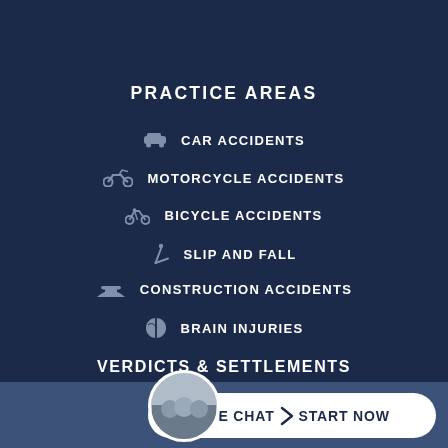PRACTICE AREAS
CAR ACCIDENTS
MOTORCYCLE ACCIDENTS
BICYCLE ACCIDENTS
SLIP AND FALL
CONSTRUCTION ACCIDENTS
BRAIN INJURIES
VERDICTS & SETTLEMENTS
ABOUT    BLOG    VIDEOS
ALFRED MAINETTI
MICHAEL A. MAINETTI
ALEXANDER E. MAINETTI
CH...
LIVE CHAT  >  START NOW